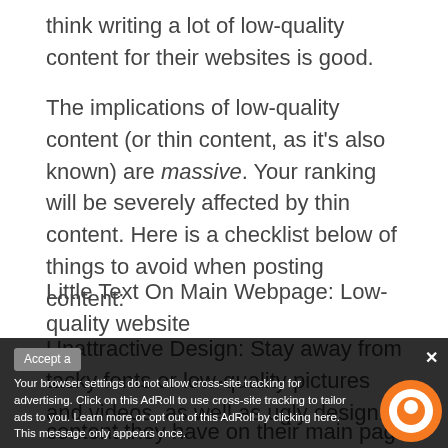think writing a lot of low-quality content for their websites is good.
The implications of low-quality content (or thin content, as it’s also known) are massive. Your ranking will be severely affected by thin content. Here is a checklist below of things to avoid when posting content:
Unattractive Design: Stay away from tacky fonts or low-quality pictures and videos, as well as ugly design.
Little Text On Main Webpage: Low-quality websites…
Your browser settings do not allow cross-site tracking for advertising. Click on this AdRoll to use cross-site tracking to tailor ads to you. Learn more or opt out of this AdRoll by clicking here. This message only appears once.